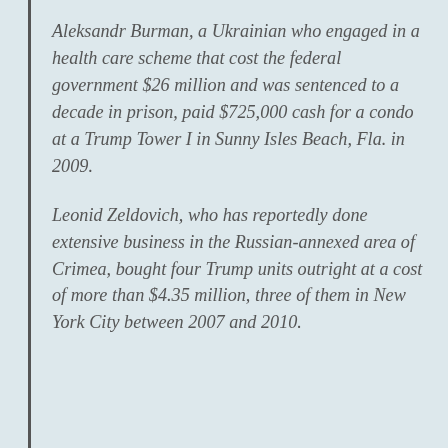Aleksandr Burman, a Ukrainian who engaged in a health care scheme that cost the federal government $26 million and was sentenced to a decade in prison, paid $725,000 cash for a condo at a Trump Tower I in Sunny Isles Beach, Fla. in 2009.
Leonid Zeldovich, who has reportedly done extensive business in the Russian-annexed area of Crimea, bought four Trump units outright at a cost of more than $4.35 million, three of them in New York City between 2007 and 2010.